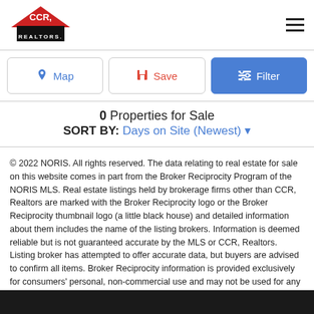[Figure (logo): CCR Realtors logo — red and black house/roof shape with 'CCR' and 'REALTORS' text]
0 Properties for Sale
SORT BY: Days on Site (Newest) ▾
© 2022 NORIS. All rights reserved. The data relating to real estate for sale on this website comes in part from the Broker Reciprocity Program of the NORIS MLS. Real estate listings held by brokerage firms other than CCR, Realtors are marked with the Broker Reciprocity logo or the Broker Reciprocity thumbnail logo (a little black house) and detailed information about them includes the name of the listing brokers. Information is deemed reliable but is not guaranteed accurate by the MLS or CCR, Realtors. Listing broker has attempted to offer accurate data, but buyers are advised to confirm all items. Broker Reciprocity information is provided exclusively for consumers' personal, non-commercial use and may not be used for any purpose other than to identify prospective